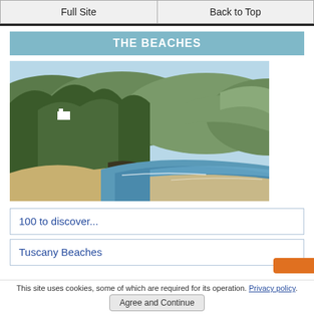Full Site | Back to Top
THE BEACHES
[Figure (photo): Aerial/elevated view of a coastal scene with green forested hills, a white building on a cliff, and a sandy beach curving into calm blue water.]
100 to discover...
Tuscany Beaches
This site uses cookies, some of which are required for its operation. Privacy policy.
Agree and Continue